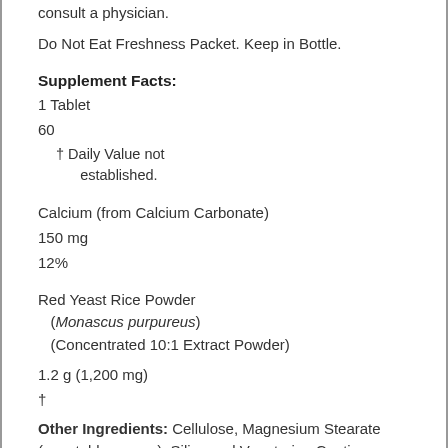consult a physician.
Do Not Eat Freshness Packet. Keep in Bottle.
Supplement Facts:
1 Tablet
60
† Daily Value not established.
Calcium (from Calcium Carbonate)
150 mg
12%
Red Yeast Rice Powder
(Monascus purpureus)
(Concentrated 10:1 Extract Powder)
1.2 g (1,200 mg)
†
Other Ingredients: Cellulose, Magnesium Stearate (vegetable source), Silica and Vegetarian Coating.